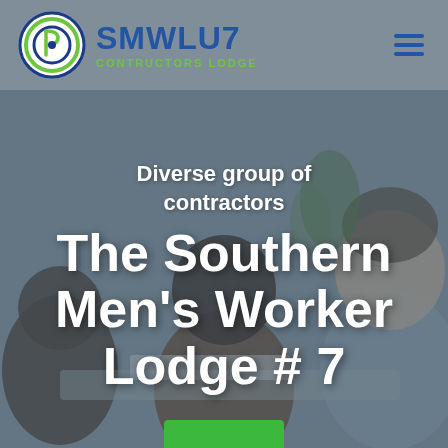[Figure (photo): Background photo of a diverse group of people in a meeting/discussion setting, with a blue-gray overlay]
SMWLU7 CONTRUCTORS LODGE
Diverse group of contractors
The Southern Men's Worker Lodge # 7